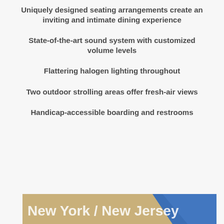Uniquely designed seating arrangements create an inviting and intimate dining experience
State-of-the-art sound system with customized volume levels
Flattering halogen lighting throughout
Two outdoor strolling areas offer fresh-air views
Handicap-accessible boarding and restrooms
[Figure (other): New York / New Jersey banner with tan/gold background and blue diagonal stripe]